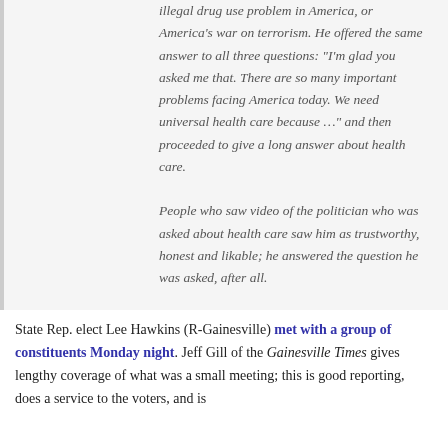illegal drug use problem in America, or America's war on terrorism. He offered the same answer to all three questions: "I'm glad you asked me that. There are so many important problems facing America today. We need universal health care because ..." and then proceeded to give a long answer about health care.

People who saw video of the politician who was asked about health care saw him as trustworthy, honest and likable; he answered the question he was asked, after all.
State Rep. elect Lee Hawkins (R-Gainesville) met with a group of constituents Monday night. Jeff Gill of the Gainesville Times gives lengthy coverage of what was a small meeting; this is good reporting, does a service to the voters, and is